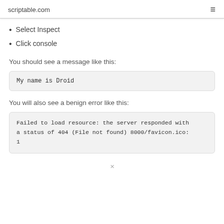scriptable.com
Select Inspect
Click console
You should see a message like this:
My name is Droid
You will also see a benign error like this:
Failed to load resource: the server responded with a status of 404 (File not found) 8000/favicon.ico: 1